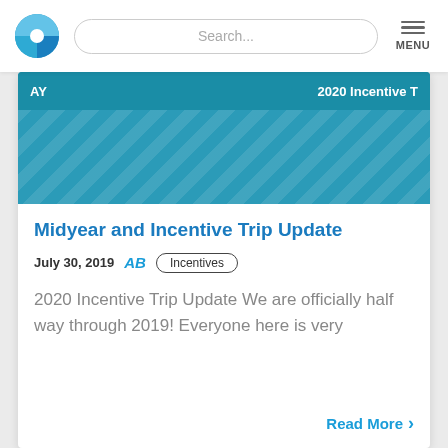[Figure (logo): Blue circular logo with cross/compass design]
Search...
MENU
[Figure (screenshot): Teal/blue banner with diagonal stripe pattern and header text 'AY' and '2020 Incentive T...']
Midyear and Incentive Trip Update
July 30, 2019
AB
Incentives
2020 Incentive Trip Update We are officially half way through 2019! Everyone here is very
Read More